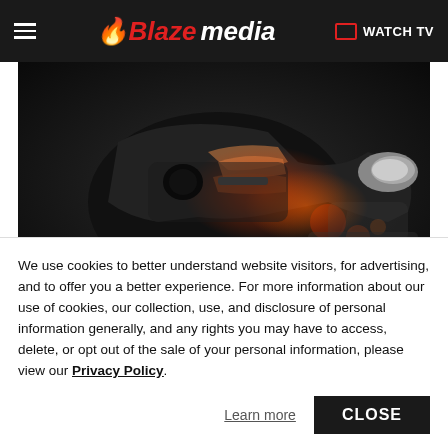Blaze media | WATCH TV
[Figure (photo): Close-up photo of a hand holding a gasoline pump nozzle inserted into a car fuel tank, with blurred background of cars and lights]
Photo by FREDERIC J. BROWN/AFP via Getty Images
We use cookies to better understand website visitors, for advertising, and to offer you a better experience. For more information about our use of cookies, our collection, use, and disclosure of personal information generally, and any rights you may have to access, delete, or opt out of the sale of your personal information, please view our Privacy Policy.
Learn more
CLOSE